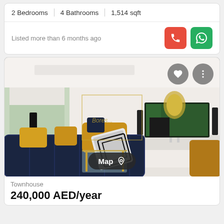2 Bedrooms | 4 Bathrooms | 1,514 sqft
Listed more than 6 months ago
[Figure (photo): Interior photo of a luxury living room with navy blue tufted sofa, gold/yellow accent pillows, black and white geometric cushion, glass coffee table, mounted flat-screen TV, and a watermark logo overlay]
Map
Townhouse
240,000 AED/year